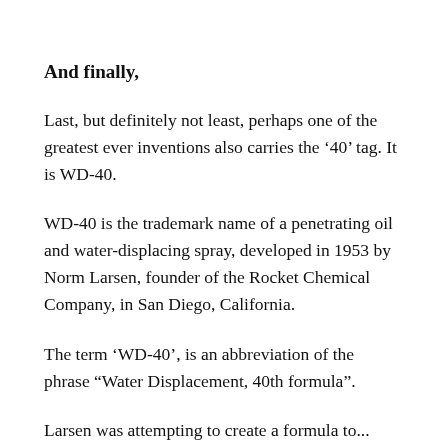And finally,
Last, but definitely not least, perhaps one of the greatest ever inventions also carries the ‘40’ tag. It is WD-40.
WD-40 is the trademark name of a penetrating oil and water-displacing spray, developed in 1953 by Norm Larsen, founder of the Rocket Chemical Company, in San Diego, California.
The term ‘WD-40’, is an abbreviation of the phrase “Water Displacement, 40th formula”.
Larsen was attempting to create a formula to...